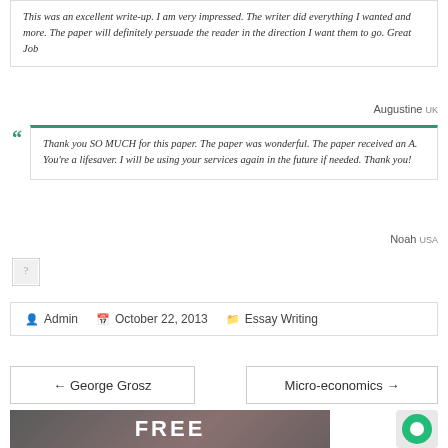This was an excellent write-up. I am very impressed. The writer did everything I wanted and more. The paper will definitely persuade the reader in the direction I want them to go. Great Job
Augustine UK
Thank you SO MUCH for this paper. The paper was wonderful. The paper received an A. You're a lifesaver. I will be using your services again in the future if needed. Thank you!
Noah USA
[Figure (photo): Broken image placeholder icon]
Admin  October 22, 2013  Essay Writing
← George Grosz
Micro-economics →
[Figure (photo): Dark banner image with white bold text reading FREE]